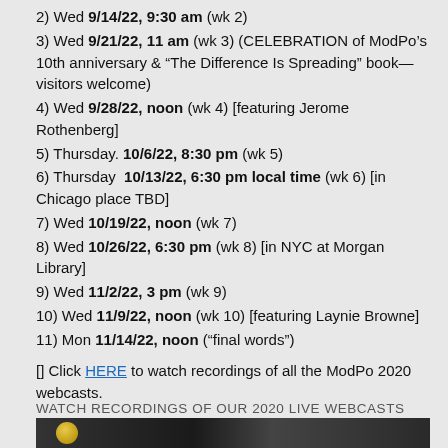2) Wed 9/14/22, 9:30 am (wk 2)
3) Wed 9/21/22, 11 am (wk 3) (CELEBRATION of ModPo’s 10th anniversary & “The Difference Is Spreading” book—visitors welcome)
4) Wed 9/28/22, noon (wk 4) [featuring Jerome Rothenberg]
5) Thursday. 10/6/22, 8:30 pm (wk 5)
6) Thursday 10/13/22, 6:30 pm local time (wk 6) [in Chicago place TBD]
7) Wed 10/19/22, noon (wk 7)
8) Wed 10/26/22, 6:30 pm (wk 8) [in NYC at Morgan Library]
9) Wed 11/2/22, 3 pm (wk 9)
10) Wed 11/9/22, noon (wk 10) [featuring Laynie Browne]
11) Mon 11/14/22, noon (“final words”)
[] Click HERE to watch recordings of all the ModPo 2020 webcasts.
WATCH RECORDINGS OF OUR 2020 LIVE WEBCASTS
[Figure (photo): Dark banner image with a gold circular emblem, likely a ModPo logo or similar.]